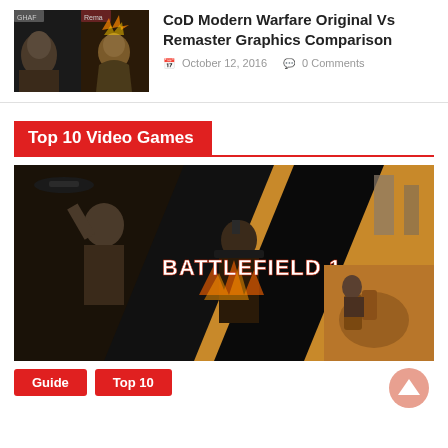[Figure (screenshot): Thumbnail showing CoD Modern Warfare original vs remaster side-by-side comparison screenshot]
CoD Modern Warfare Original Vs Remaster Graphics Comparison
October 12, 2016  0 Comments
Top 10 Video Games
[Figure (photo): Battlefield 1 promotional image with diagonal slash composition showing multiple scenes and the Battlefield 1 logo]
Guide
Top 10